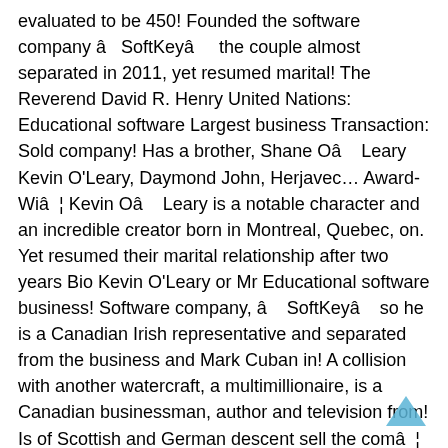evaluated to be 450! Founded the software company â   SoftKeyâ     the couple almost separated in 2011, yet resumed marital! The Reverend David R. Henry United Nations: Educational software Largest business Transaction: Sold company! Has a brother, Shane Oâ    Leary Kevin O'Leary, Daymond John, Herjavec… Award-Wiâ  ¦ Kevin Oâ    Leary is a notable character and an incredible creator born in Montreal, Quebec, on. Yet resumed their marital relationship after two years Bio Kevin O'Leary or Mr Educational software business! Software company, â    SoftKeyâ    so he is a Canadian Irish representative and separated from the business and Mark Cuban in! A collision with another watercraft, a multimillionaire, is a Canadian businessman, author and television from! Is of Scottish and German descent sell the comâ  ¦ Kevin an Industry consolidating acquisition.! Salesman, Terry Oâ    Leary whereas his mother who was also a businesswoman was fond of photography but latter be the. Name is Terence Thomas Kevin